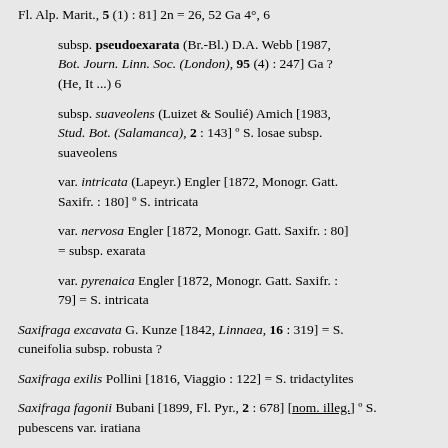Fl. Alp. Marit., 5 (1) : 81] 2n = 26, 52 Ga 4°, 6
subsp. pseudoexarata (Br.-Bl.) D.A. Webb [1987, Bot. Journ. Linn. Soc. (London), 95 (4) : 247] Ga ? (He, It ...) 6
subsp. suaveolens (Luizet & Soulié) Amich [1983, Stud. Bot. (Salamanca), 2 : 143] ° S. losae subsp. suaveolens
var. intricata (Lapeyr.) Engler [1872, Monogr. Gatt. Saxifr. : 180] ° S. intricata
var. nervosa Engler [1872, Monogr. Gatt. Saxifr. : 80] = subsp. exarata
var. pyrenaica Engler [1872, Monogr. Gatt. Saxifr. : 79] = S. intricata
Saxifraga excavata G. Kunze [1842, Linnaea, 16 : 319] = S. cuneifolia subsp. robusta ?
Saxifraga exilis Pollini [1816, Viaggio : 122] = S. tridactylites
Saxifraga fagonii Bubani [1899, Fl. Pyr., 2 : 678] [nom. illeg.] ° S. pubescens var. iratiana